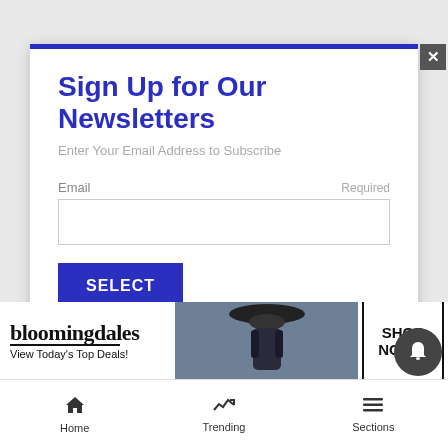Sign Up for Our Newsletters
Enter Your Email Address to Subscribe
Email    Required
[Figure (screenshot): Email input text field, empty, with white background and light grey border]
[Figure (screenshot): SELECT button in dark blue/navy background with white uppercase text]
[Figure (screenshot): Bloomingdale's advertisement banner: logo, 'View Today's Top Deals!' tagline, woman with hat image, SHOP NOW > call to action box]
[Figure (screenshot): Dark circular notification bell button]
[Figure (screenshot): Close (X) button in grey box at top right of modal]
Home    Trending    Sections